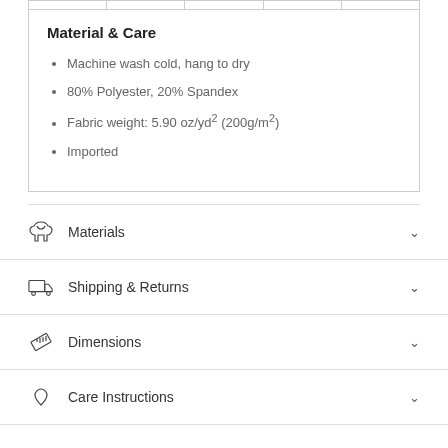Material & Care
Machine wash cold, hang to dry
80% Polyester, 20% Spandex
Fabric weight: 5.90 oz/yd² (200g/m²)
Imported
Materials
Shipping & Returns
Dimensions
Care Instructions